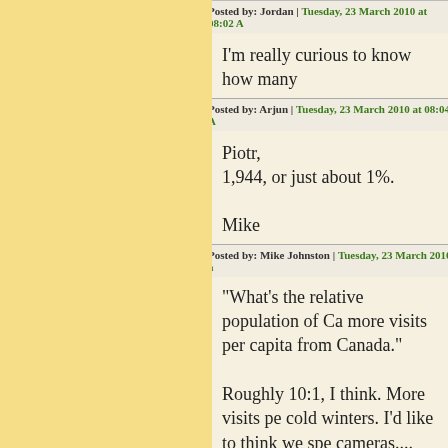Posted by: Jordan | Tuesday, 23 March 2010 at 08:02 A
I'm really curious to know how many
Posted by: Arjun | Tuesday, 23 March 2010 at 08:04 A
Piotr,
1,944, or just about 1%.

Mike
Posted by: Mike Johnston | Tuesday, 23 March 2010 a
"What's the relative population of Ca more visits per capita from Canada."

Roughly 10:1, I think. More visits pe cold winters. I'd like to think we spe cameras....

-- David Miller
-- David Miller